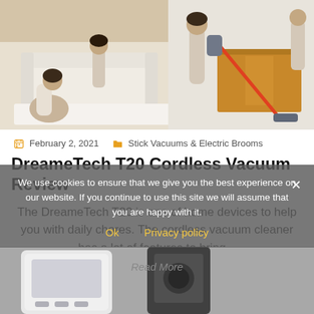[Figure (photo): People using cordless stick vacuums and electric brooms in a living room setting with wood floors and a white sofa.]
February 2, 2021   Stick Vacuums & Electric Brooms
DreameTech T20 Cordless Vacuum Review
The DreameTech T20 is one of home devices to help you with daily chores. The cordless vacuum cleaner has a lot of features to bring...
We use cookies to ensure that we give you the best experience on our website. If you continue to use this site we will assume that you are happy with it.
Ok   Privacy policy
[Figure (photo): Bottom partial image of a vacuum cleaner product.]